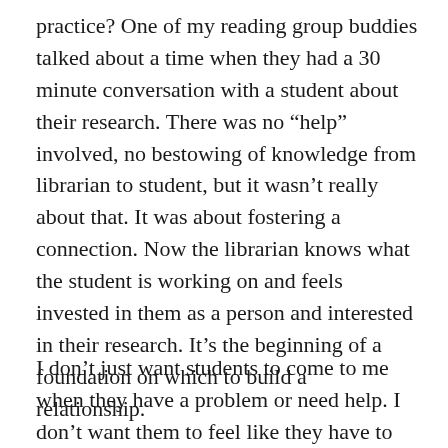practice? One of my reading group buddies talked about a time when they had a 30 minute conversation with a student about their research. There was no “help” involved, no bestowing of knowledge from librarian to student, but it wasn’t really about that. It was about fostering a connection. Now the librarian knows what the student is working on and feels invested in them as a person and interested in their research. It’s the beginning of a foundation on which to build a relationship.
I don’t just want students to come to me when they have a problem or need help. I don’t want them to feel like they have to put themselves